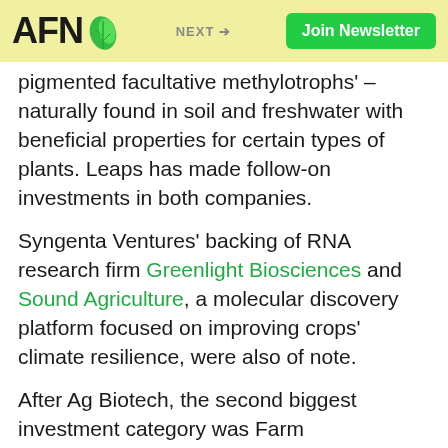AFN | NEXT → | Join Newsletter
pigmented facultative methylotrophs' – naturally found in soil and freshwater with beneficial properties for certain types of plants. Leaps has made follow-on investments in both companies.
Syngenta Ventures' backing of RNA research firm Greenlight Biosciences and Sound Agriculture, a molecular discovery platform focused on improving crops' climate resilience, were also of note.
After Ag Biotech, the second biggest investment category was Farm Management Software, Sensing & IoT, underscoring agrifood CVCs' focus on technologies closest to the farm.